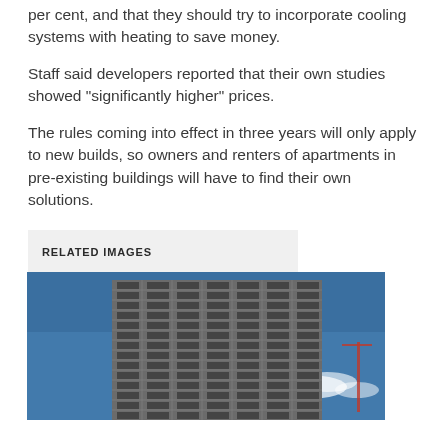per cent, and that they should try to incorporate cooling systems with heating to save money.
Staff said developers reported that their own studies showed "significantly higher" prices.
The rules coming into effect in three years will only apply to new builds, so owners and renters of apartments in pre-existing buildings will have to find their own solutions.
RELATED IMAGES
[Figure (photo): Photograph of a tall modern apartment building with balconies against a blue sky with some clouds]